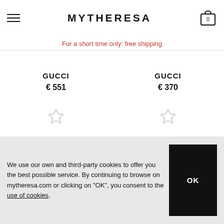MYTHERESA
For a short time only: free shipping
GUCCI
€ 551
GUCCI
€ 370
We use our own and third-party cookies to offer you the best possible service. By continuing to browse on mytheresa.com or clicking on "OK", you consent to the use of cookies.